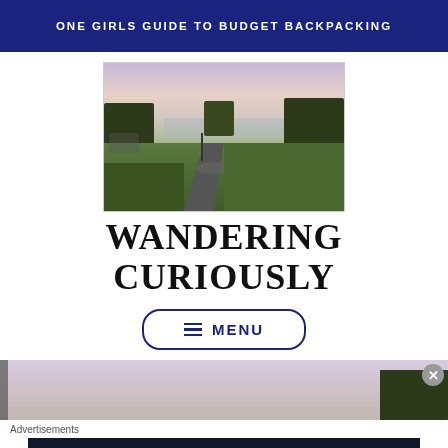ONE GIRLS GUIDE TO BUDGET BACKPACKING
[Figure (photo): Outdoor park scene with a winding path, green grass, bare trees, and a hazy city skyline at dusk]
WANDERING CURIOUSLY
≡ MENU
[Figure (photo): Bottom portion of park photo visible as a strip]
Advertisements
[Figure (infographic): Dark advertisement banner: logo '▪2' and text 'Fewer meetings, more work.']